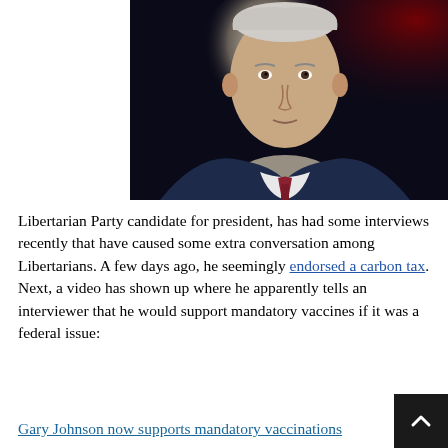[Figure (photo): Portrait photograph of an older man in a dark navy suit with a patterned red tie, against a dark background with dramatic lighting. The man has white/grey hair and is looking directly at the camera.]
Libertarian Party candidate for president, has had some interviews recently that have caused some extra conversation among Libertarians. A few days ago, he seemingly endorsed a carbon tax. Next, a video has shown up where he apparently tells an interviewer that he would support mandatory vaccines if it was a federal issue:
Gary Johnson now supports mandatory vaccinations